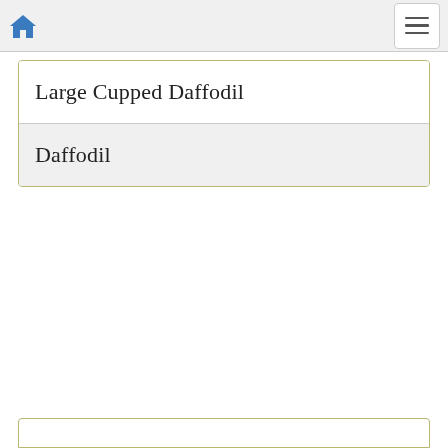Home | Menu
Large Cupped Daffodil
Daffodil